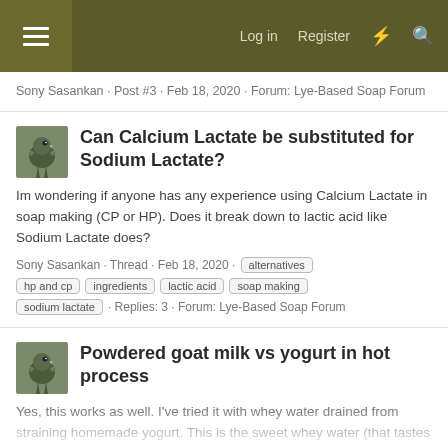Log in  Register
Sony Sasankan · Post #3 · Feb 18, 2020 · Forum: Lye-Based Soap Forum
Can Calcium Lactate be substituted for Sodium Lactate?
Im wondering if anyone has any experience using Calcium Lactate in soap making (CP or HP). Does it break down to lactic acid like Sodium Lactate does?
Sony Sasankan · Thread · Feb 18, 2020 · alternatives  hp and cp  ingredients  lactic acid  soap making  sodium lactate · Replies: 3 · Forum: Lye-Based Soap Forum
Powdered goat milk vs yogurt in hot process
Yes, this works as well. I've tried it with whey water drained from straining homemade yogurt. This is the sweet whey water (that tastes kinda nice). I'm not sure about the acid whey water you get from separation of spoiled milk when heated (Cottage cheese I believe its called). These are both...
Sony Sasankan · Post #6 · Feb...